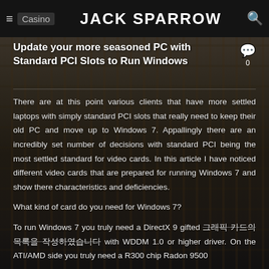≡  Casino   JACK SPARROW   🔍
Update your more seasoned PC with Standard PCI Slots to Run Windows
There are at this point various clients that have more settled laptops with simply standard PCI slots that really need to keep their old PC and move up to Windows 7. Appallingly there are an incredibly set number of decisions with standard PCI being the most settled standard for video cards. In this article I have noticed different video cards that are prepared for running Windows 7 and show there characteristics and deficiencies.
What kind of card do you need for Windows 7?
To run Windows 7 you truly need a DirectX 9 gifted 그래픽 카드의 목록을 작성하였습니다 with WDDM 1.0 or higher driver. On the ATI/AMD side you truly need a R300 chip Radon 9500